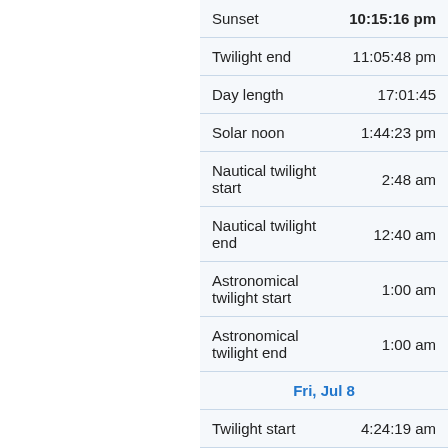| Event | Time |
| --- | --- |
| Sunset | 10:15:16 pm |
| Twilight end | 11:05:48 pm |
| Day length | 17:01:45 |
| Solar noon | 1:44:23 pm |
| Nautical twilight start | 2:48 am |
| Nautical twilight end | 12:40 am |
| Astronomical twilight start | 1:00 am |
| Astronomical twilight end | 1:00 am |
| Fri, Jul 8 |  |
| Twilight start | 4:24:19 am |